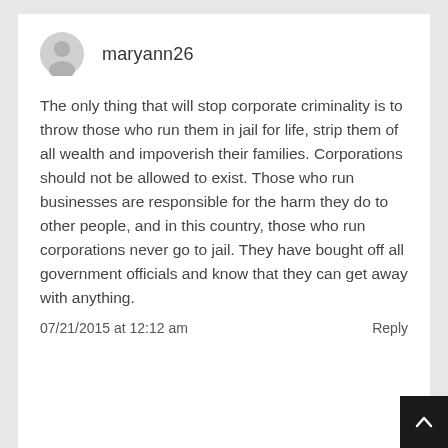maryann26
The only thing that will stop corporate criminality is to throw those who run them in jail for life, strip them of all wealth and impoverish their families. Corporations should not be allowed to exist. Those who run businesses are responsible for the harm they do to other people, and in this country, those who run corporations never go to jail. They have bought off all government officials and know that they can get away with anything.
07/21/2015 at 12:12 am
Reply